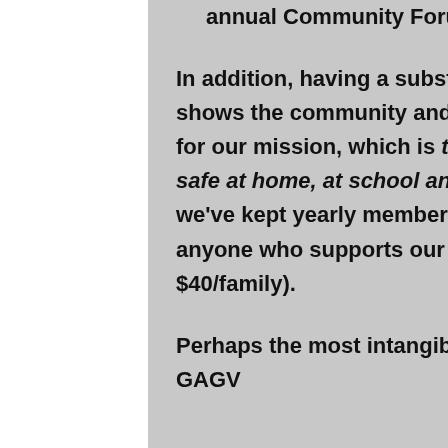annual Community Forum on Gun Violence.
In addition, having a substantial number of dues-paying members shows the community and potential grantors there is solid support for our mission, which is to reduce gun violence to keep all children safe at home, at school and in our community. That's one reason we've kept yearly membership dues very reasonable so most anyone who supports our mission can join ($25/individual or $40/family).
Perhaps the most intangible but worthwhile reasons for being a GAGV